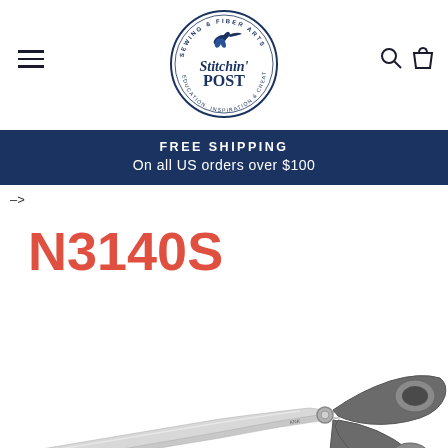[Figure (logo): Stitchin' Post sewing and fiber arts circular logo with hummingbird]
FREE SHIPPING
On all US orders over $100
->
N3140S
[Figure (photo): Gray-handled sewing scissors with silver blades, model N3140S]